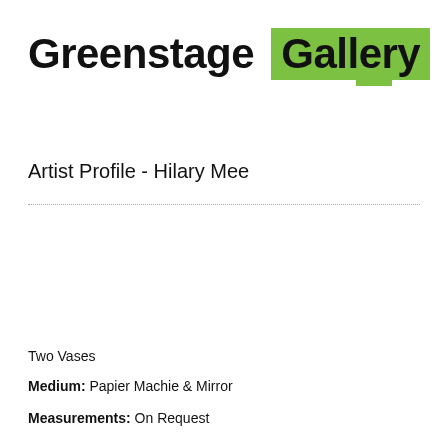Greenstage Gallery
Artist Profile - Hilary Mee
Two Vases
Medium: Papier Machie & Mirror
Measurements: On Request